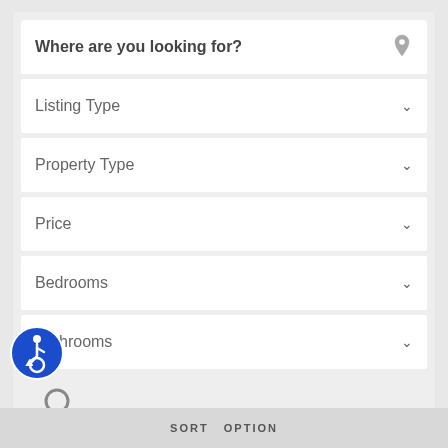Where are you looking for?
Listing Type
Property Type
Price
Bedrooms
Bathrooms
[Figure (illustration): Search magnifying glass icon]
[Figure (illustration): Accessibility icon - blue circle with wheelchair user symbol]
SORT  OPTION